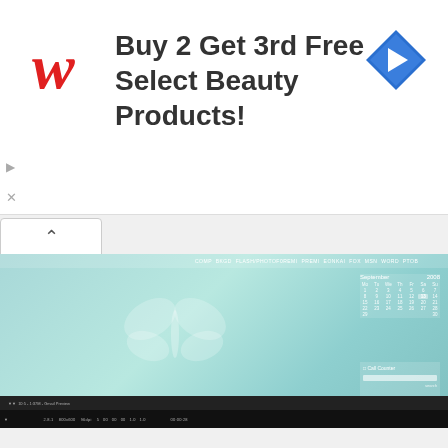[Figure (screenshot): Walgreens advertisement banner: 'Buy 2 Get 3rd Free Select Beauty Products!' with Walgreens script logo and blue diamond navigation icon. Below: a screenshot of a desktop browser showing a teal/turquoise background with a butterfly watermark logo, a September 2008 calendar widget on the right, a call counter search widget, and a toolbar with application shortcuts. A taskbar is visible at the bottom.]